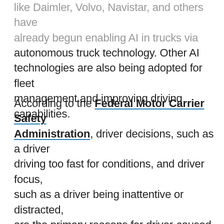like Daimler, Volvo, Navistar, and others have already begun enabling AI in trucks via autonomous truck technology. Other AI technologies are also being adopted for fleet management and improving driving capabilities.
According to the Federal Motor Carrier Safety Administration, driver decisions, such as a driver driving too fast for conditions, and driver focus, such as a driver being inattentive or distracted, are the primary reasons for driver-caused commercial vehicle crashes. There were 4,479 fatal crashes and 114,00 injury crashes among large commercial vehicles in 2019, with each crash costing US$91,000 on average, with that number increasing to US$200,000 if there was an injury and US$3.6 million if there was a